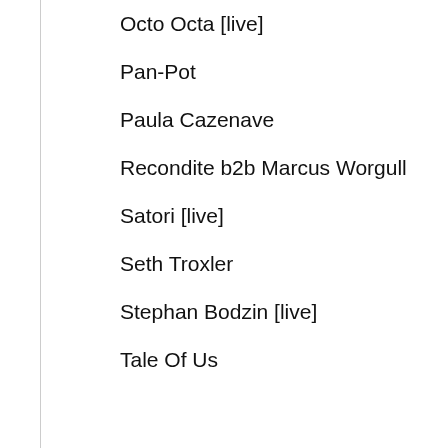Octo Octa [live]
Pan-Pot
Paula Cazenave
Recondite b2b Marcus Worgull
Satori [live]
Seth Troxler
Stephan Bodzin [live]
Tale Of Us